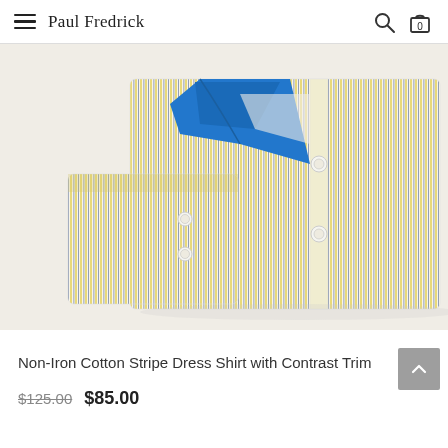Paul Fredrick
[Figure (photo): Folded yellow and white striped dress shirt with blue contrast collar trim and white buttons, photographed on a white background.]
Non-Iron Cotton Stripe Dress Shirt with Contrast Trim
$125.00  $85.00